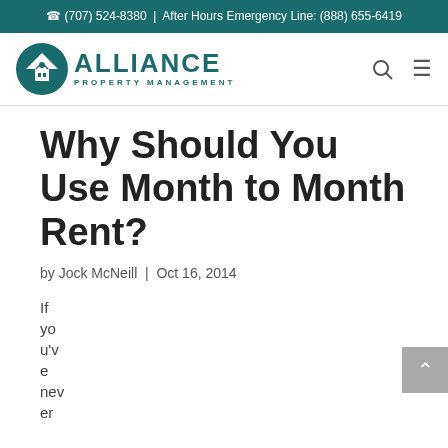(707) 524-8380 | After Hours Emergency Line: (888) 655-6419
[Figure (logo): Alliance Property Management logo with mountain/house icon and teal text]
Why Should You Use Month to Month Rent?
by Jock McNeill | Oct 16, 2014
If you've never